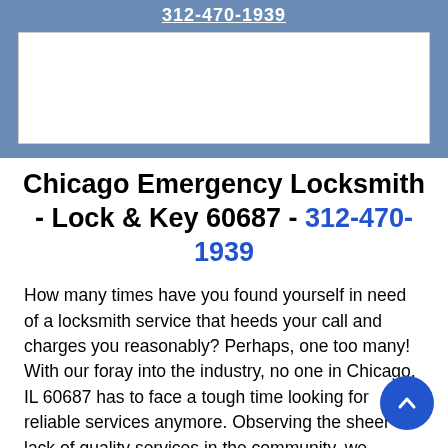312-470-1939
[Figure (other): White rectangle placeholder/image area inside blue header bar]
Chicago Emergency Locksmith - Lock & Key 60687 - 312-470-1939
How many times have you found yourself in need of a locksmith service that heeds your call and charges you reasonably? Perhaps, one too many! With our foray into the industry, no one in Chicago, IL 60687 has to face a tough time looking for reliable services anymore. Observing the sheer lack of quality services in the community, we decided to do something about it and first established our firm over a decade ago. Since then, we've dedicatedly served the local community and have swiftly made our way to the top to become the #1 locksmith